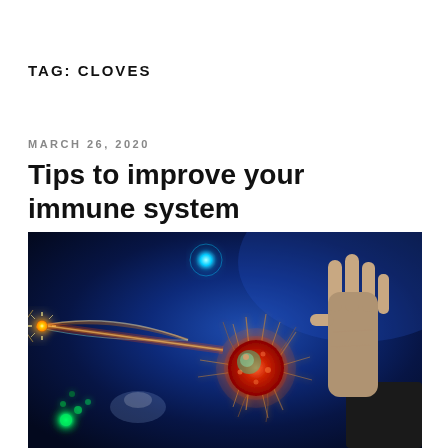TAG: CLOVES
MARCH 26, 2020
Tips to improve your immune system
[Figure (photo): Digital illustration of a human hand blocking a glowing, spiky virus particle amid energy beams and particles on a dark blue background, representing immune system defense.]